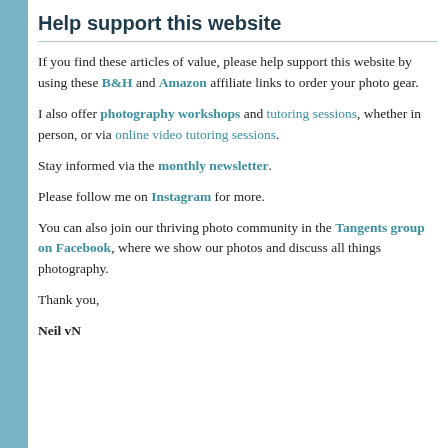Help support this website
If you find these articles of value, please help support this website by using these B&H and Amazon affiliate links to order your photo gear.
I also offer photography workshops and tutoring sessions, whether in person, or via online video tutoring sessions.
Stay informed via the monthly newsletter.
Please follow me on Instagram for more.
You can also join our thriving photo community in the Tangents group on Facebook, where we show our photos and discuss all things photography.
Thank you,
Neil vN